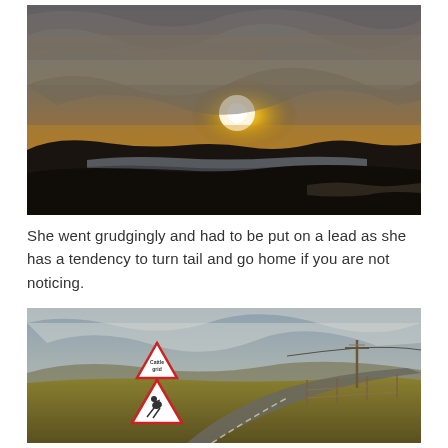[Figure (photo): Landscape photo of a dramatic sunset over a dark moorland with a lake/loch in the middle distance. Cloudy sky with glowing sun breaking through clouds, dark silhouetted hills in foreground.]
She went grudgingly and had to be put on a lead as she has a tendency to turn tail and go home if you are not noticing.
[Figure (photo): Photo of a rural road with two red and white triangular warning signs on a post — one reading 'Cattle grid' and one showing a horse and rider silhouette. Rolling moorland with fencing and telephone poles in background.]